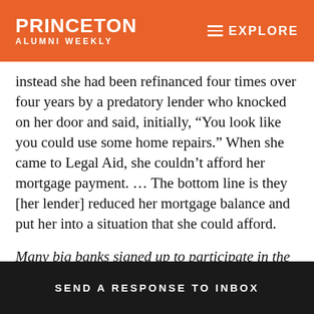PRINCETON ALUMNI WEEKLY | EXPLORE
instead she had been refinanced four times over four years by a predatory lender who knocked on her door and said, initially, “You look like you could use some home repairs.” When she came to Legal Aid, she couldn’t afford her mortgage payment. … The bottom line is they [her lender] reduced her mortgage balance and put her into a situation that she could afford.
Many big banks signed up to participate in the federal Home Affordable Modification Program to get bailout money from the federal government. How is that working for people?
SEND A RESPONSE TO INBOX